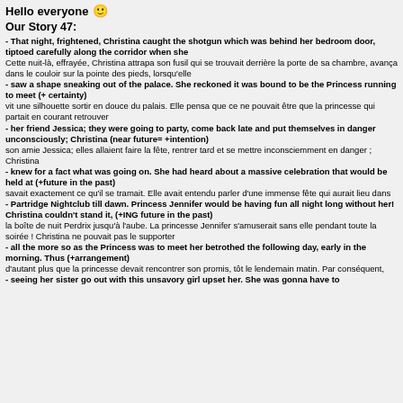Hello everyone 🙂
Our Story 47:
- That night, frightened, Christina caught the shotgun which was behind her bedroom door, tiptoed carefully along the corridor when she
Cette nuit-là, effrayée, Christina attrapa son fusil qui se trouvait derrière la porte de sa chambre, avança dans le couloir sur la pointe des pieds, lorsqu'elle
- saw a shape sneaking out of the palace. She reckoned it was bound to be the Princess running to meet (+ certainty)
vit une silhouette sortir en douce du palais. Elle pensa que ce ne pouvait être que la princesse qui partait en courant retrouver
- her friend Jessica; they were going to party, come back late and put themselves in danger unconsciously; Christina (near future= +intention)
son amie Jessica; elles allaient faire la fête, rentrer tard et se mettre inconsciemment en danger ; Christina
- knew for a fact what was going on. She had heard about a massive celebration that would be held at (+future in the past)
savait exactement ce qu'il se tramait. Elle avait entendu parler d'une immense fête qui aurait lieu dans
- Partridge Nightclub till dawn. Princess Jennifer would be having fun all night long without her! Christina couldn't stand it, (+ING future in the past)
la boîte de nuit Perdrix jusqu'à l'aube. La princesse Jennifer s'amuserait sans elle pendant toute la soirée ! Christina ne pouvait pas le supporter
- all the more so as the Princess was to meet her betrothed the following day, early in the morning. Thus (+arrangement)
d'autant plus que la princesse devait rencontrer son promis, tôt le lendemain matin. Par conséquent,
- seeing her sister go out with this unsavory girl upset her. She was gonna have to
seeing her sister go out with this unsavory girl upset her. She was gonna have to